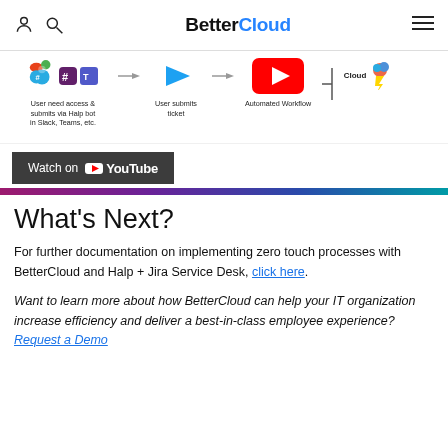BetterCloud
[Figure (infographic): Workflow diagram showing: User needs access & submits via Help bot in Slack, Teams, etc. → User submits ticket → Automated Workflow (YouTube video thumbnail) → BetterCloud (cloud icon with lightning bolt)]
[Figure (screenshot): Watch on YouTube button with dark background, followed by a gradient color bar (pink to teal)]
What's Next?
For further documentation on implementing zero touch processes with BetterCloud and Halp + Jira Service Desk, click here.
Want to learn more about how BetterCloud can help your IT organization increase efficiency and deliver a best-in-class employee experience? Request a Demo